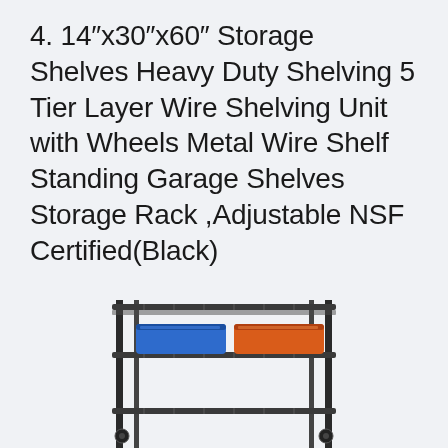4. 14″x30″x60″ Storage Shelves Heavy Duty Shelving 5 Tier Layer Wire Shelving Unit with Wheels Metal Wire Shelf Standing Garage Shelves Storage Rack ,Adjustable NSF Certified(Black)
[Figure (photo): A black metal wire shelving unit with 5 tiers on wheels. The middle shelf has a blue storage bin on the left and an orange/red storage bin on the right. The unit is shown partially, focusing on the lower shelves.]